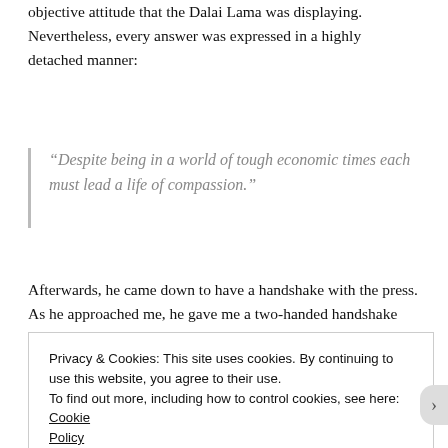objective attitude that the Dalai Lama was displaying. Nevertheless, every answer was expressed in a highly detached manner:
“Despite being in a world of tough economic times each must lead a life of compassion.”
Afterwards, he came down to have a handshake with the press. As he approached me, he gave me a two-handed handshake and looking at my dreadlocks, he asked what kind of hairstyle I had. Everyone laughed. Noticing my appearance he asked where I originated from; I replied that my mum came from the Philippines. He remained silent for a moment looking into my
Privacy & Cookies: This site uses cookies. By continuing to use this website, you agree to their use.
To find out more, including how to control cookies, see here: Cookie Policy
Close and accept